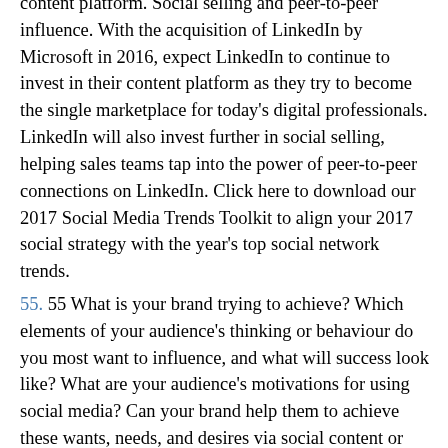content platform. Social selling and peer-to-peer influence. With the acquisition of LinkedIn by Microsoft in 2016, expect LinkedIn to continue to invest in their content platform as they try to become the single marketplace for today's digital professionals. LinkedIn will also invest further in social selling, helping sales teams tap into the power of peer-to-peer connections on LinkedIn. Click here to download our 2017 Social Media Trends Toolkit to align your 2017 social strategy with the year's top social network trends.
55. 55 What is your brand trying to achieve? Which elements of your audience's thinking or behaviour do you most want to influence, and what will success look like? What are your audience's motivations for using social media? Can your brand help them to achieve these wants, needs, and desires via social content or other marketing activities? Where and when are the best times and places to engage your audiences? Which social platforms will deliver activities to them most effectively and efficiently in these settings? How often do you need to engage your audiences? Does it make sense to try to interact with them every day, or might it be better to invest in fewer, bigger, better activities? How will you identify and measure brand success (and